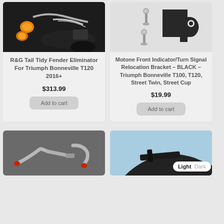[Figure (photo): Motorcycle rear with tail tidy fender eliminator and orange turn signals]
R&G Tail Tidy Fender Eliminator For Triumph Bonneville T120 2016+
$313.99
Add to cart
[Figure (photo): Black front indicator/turn signal relocation bracket with screws and washers]
Motone Front Indicator/Turn Signal Relocation Bracket – BLACK – Triumph Bonneville T100, T120, Street Twin, Street Cup
$19.99
Add to cart
[Figure (photo): Bent metal pipe/hose fitting parts on grey background]
[Figure (photo): Motorcycle accessory on blue sky background (partial view)]